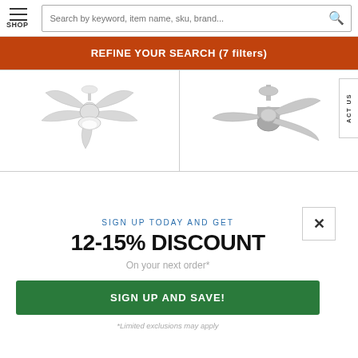SHOP | Search by keyword, item name, sku, brand...
REFINE YOUR SEARCH (7 filters)
[Figure (photo): Two ceiling fans displayed side by side: left is a white 5-blade ceiling fan with light kit, right is a modern 3-blade silver/nickel ceiling fan without light kit]
SIGN UP TODAY AND GET
12-15% DISCOUNT
On your next order*
SIGN UP AND SAVE!
*Limited exclusions may apply